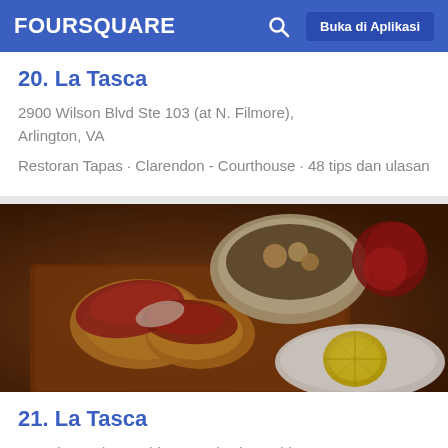FOURSQUARE  Buka di Aplikasi
20. La Tasca
2900 Wilson Blvd Ste 103 (at N. Filmore), Arlington, VA
Restoran Tapas · Clarendon - Courthouse · 48 tips dan ulasan
[Figure (photo): Photo of tapas food on a wooden board with cured meats, bread, a bowl of stew, and a lemon wedge, in warm restaurant lighting]
21. La Tasca
607 King St (N Washington St), Alexandria, VA
Restoran Tapas · Old Town · 58 tips dan ulasan